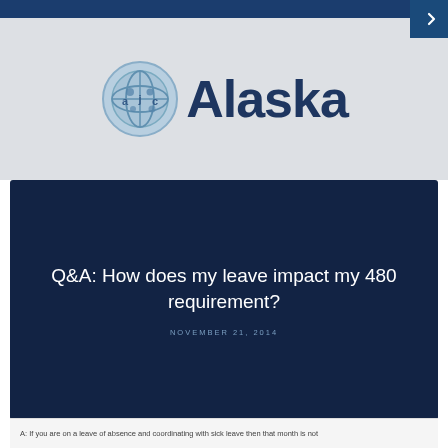[Figure (logo): AJC Alaska logo with circular globe icon and bold dark blue 'Alaska' text]
Q&A: How does my leave impact my 480 requirement?
NOVEMBER 21, 2014
A:  If you are on a leave of absence and coordinating with sick leave then that month is not